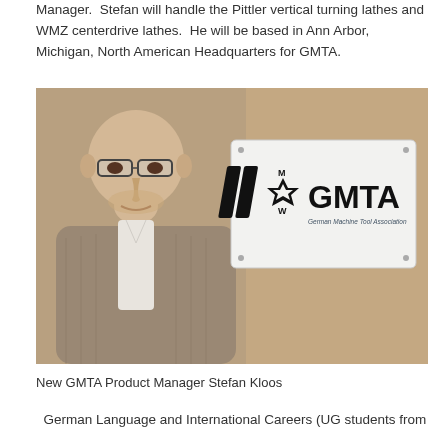Manager.  Stefan will handle the Pittler vertical turning lathes and WMZ centerdrive lathes.  He will be based in Ann Arbor, Michigan, North American Headquarters for GMTA.
[Figure (photo): Photo of Stefan Kloos, new GMTA Product Manager, standing in front of a GMTA logo sign. He is a bald man wearing glasses and a grey cable-knit sweater over a white shirt.]
New GMTA Product Manager Stefan Kloos
German Language and International Careers (UG students from